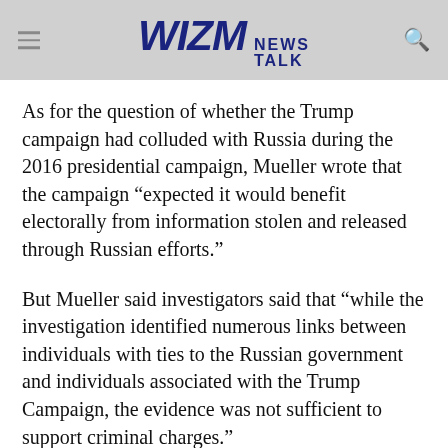WIZM NEWS TALK
As for the question of whether the Trump campaign had colluded with Russia during the 2016 presidential campaign, Mueller wrote that the campaign “expected it would benefit electorally from information stolen and released through Russian efforts.”
But Mueller said investigators said that “while the investigation identified numerous links between individuals with ties to the Russian government and individuals associated with the Trump Campaign, the evidence was not sufficient to support criminal charges.”
Workers at a Russian troll farm contacted Trump’s campaign, claiming to be political activists for conservative grassroots organizations, and asked for signs and other campaign materials to use at rallies.